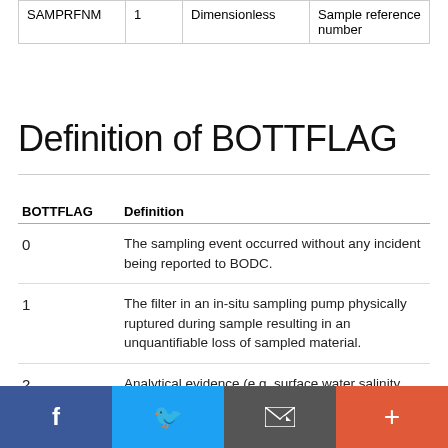|  |  |  |  |
| --- | --- | --- | --- |
| SAMPRFNM | 1 | Dimensionless | Sample reference number |
Definition of BOTTFLAG
| BOTTFLAG | Definition |
| --- | --- |
| 0 | The sampling event occurred without any incident being reported to BODC. |
| 1 | The filter in an in-situ sampling pump physically ruptured during sample resulting in an unquantifiable loss of sampled material. |
| 2 | Analytical evidence (e.g. surface water salinity measured on a sample collected at depth) |